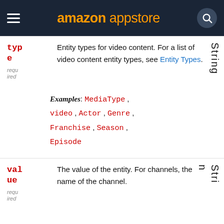amazon appstore
| Parameter | Description | Type |
| --- | --- | --- |
| type
required | Entity types for video content. For a list of video content entity types, see Entity Types. | String |
| value
required | The value of the entity. For channels, the name of the channel. | String |
Examples: MediaType , video , Actor , Genre , Franchise , Season , Episode